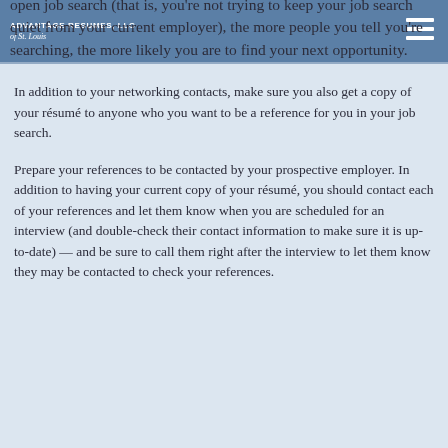Advantage Resumes, LLC
of St. Louis
open job search (that is, you're not trying to keep your job search quiet from your current employer), the more people you tell you're searching, the more likely you are to find your next opportunity.
In addition to your networking contacts, make sure you also get a copy of your résumé to anyone who you want to be a reference for you in your job search.
Prepare your references to be contacted by your prospective employer. In addition to having your current copy of your résumé, you should contact each of your references and let them know when you are scheduled for an interview (and double-check their contact information to make sure it is up-to-date) — and be sure to call them right after the interview to let them know they may be contacted to check your references.